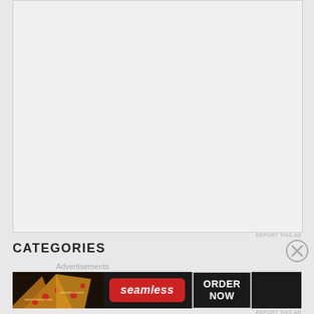[Figure (other): Empty advertisement placeholder box with light gray background and border]
REPORT THIS AD
CATEGORIES
Advertisements
[Figure (photo): Seamless food delivery advertisement banner showing pizza slices on dark background with Seamless logo and ORDER NOW button]
REPORT THIS AD